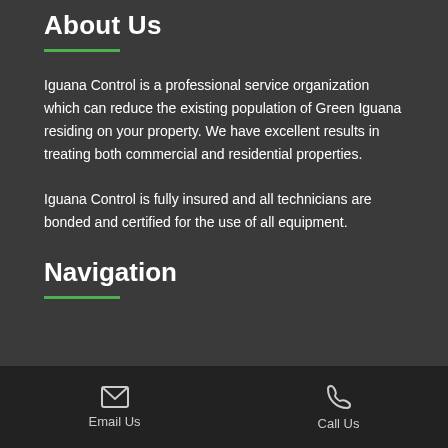About Us
Iguana Control is a professional service organization which can reduce the existing population of Green Iguana residing on your property. We have excellent results in treating both commercial and residential properties.
Iguana Control is fully insured and all technicians are bonded and certified for the use of all equipment.
Navigation
Email Us   Call Us